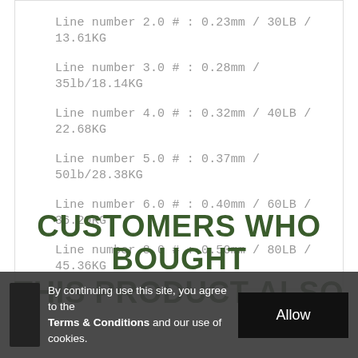Line number 2.0 # : 0.23mm / 30LB / 13.61KG
Line number 3.0 # : 0.28mm / 35lb/18.14KG
Line number 4.0 # : 0.32mm / 40LB / 22.68KG
Line number 5.0 # : 0.37mm / 50lb/28.38KG
Line number 6.0 # : 0.40mm / 60LB / 36.29KG
Line number 8.0 # : 0.50mm / 80LB / 45.36KG
CUSTOMERS WHO BOUGHT THIS PRODUCT ALSO
By continuing use this site, you agree to the Terms & Conditions and our use of cookies.